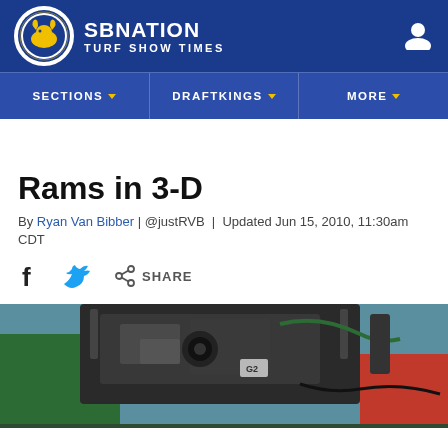SB NATION TURF SHOW TIMES
Rams in 3-D
By Ryan Van Bibber | @justRVB | Updated Jun 15, 2010, 11:30am CDT
[Figure (other): Share bar with Facebook, Twitter, and share icons]
[Figure (photo): Close-up photo of a 3D camera rig on a sports field, with cameraman in green shirt and another person in red shirt visible]